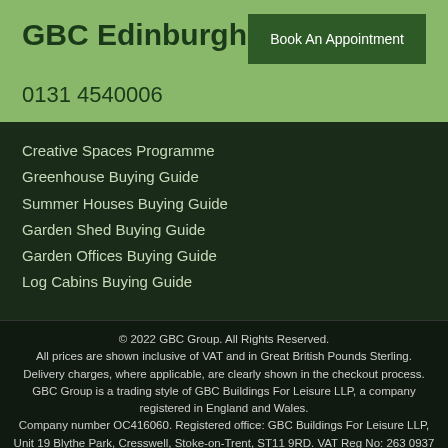GBC Edinburgh
Book An Appointment
0131 4540006
Creative Spaces Programme
Greenhouse Buying Guide
Summer Houses Buying Guide
Garden Shed Buying Guide
Garden Offices Buying Guide
Log Cabins Buying Guide
© 2022 GBC Group. All Rights Reserved. All prices are shown inclusive of VAT and in Great British Pounds Sterling. Delivery charges, where applicable, are clearly shown in the checkout process. GBC Group is a trading style of GBC Buildings For Leisure LLP, a company registered in England and Wales. Company number OC416060. Registered office: GBC Buildings For Leisure LLP, Unit 19 Blythe Park, Cresswell, Stoke-on-Trent, ST11 9RD. VAT Reg No: 263 0937
Request a Free Brochure